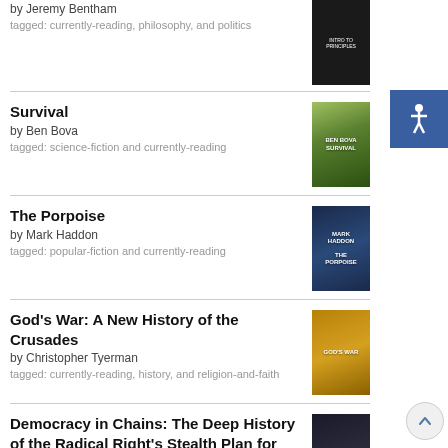by Jeremy Bentham
tagged: currently-reading, philosophy, and politics
Survival by Ben Bova
tagged: science-fiction and currently-reading
The Porpoise by Mark Haddon
tagged: popular-fiction and currently-reading
God's War: A New History of the Crusades by Christopher Tyerman
tagged: currently-reading, history, and religion-and-faith
Democracy in Chains: The Deep History of the Radical Right's Stealth Plan for America by Nancy MacLean
tagged: currently-reading, history, and politics
New World Sourdough: Artisan Techniques for Creative Homemade